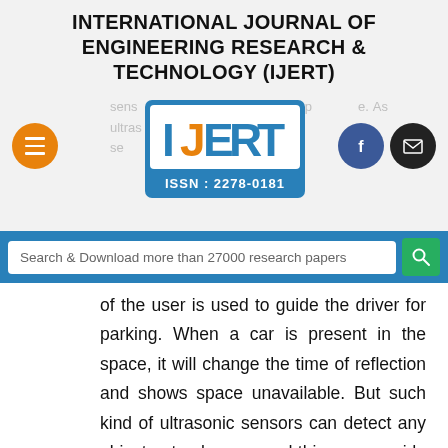INTERNATIONAL JOURNAL OF ENGINEERING RESEARCH & TECHNOLOGY (IJERT)
[Figure (logo): IJERT logo with ISSN: 2278-0181]
sensor placed on the ceiling of the parking space. As ultrasonic sensor emits sound, the
Search & Download more than 27000 research papers
of the user is used to guide the driver for parking. When a car is present in the space, it will change the time of reflection and shows space unavailable. But such kind of ultrasonic sensors can detect any object not only a car and this may provide false information to the users. This system is not a smart